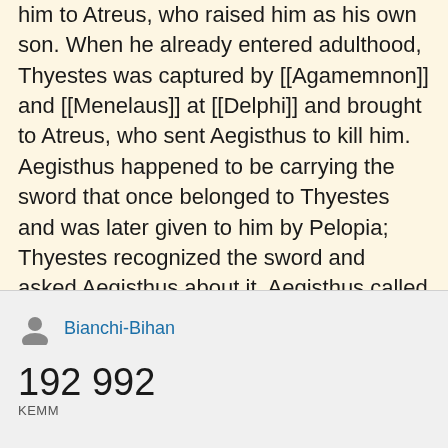him to Atreus, who raised him as his own son. When he already entered adulthood, Thyestes was captured by [[Agamemnon]] and [[Menelaus]] at [[Delphi]] and brought to Atreus, who sent Aegisthus to kill him. Aegisthus happened to be carrying the sword that once belonged to Thyestes and was later given to him by Pelopia; Thyestes recognized the sword and asked Aegisthus about it. Aegisthus called for Pelopia, who told him how the weapon had got to her. Upon recognizing Thyestes and the fact that he was the rapist, Pelopia stabbed herself with her father's sword. Aegisthus then killed Atreus and restored the kingdom to Thyestes. <ref>[[Hyginus]]
Bianchi-Bihan
192 992
KEMM